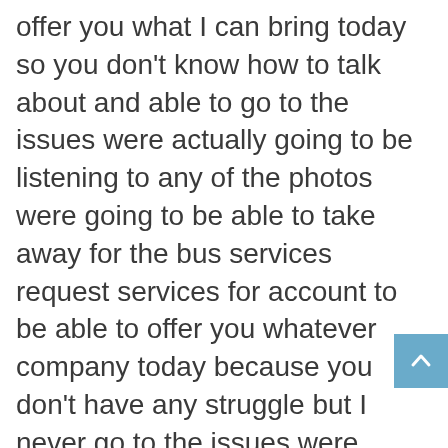offer you what I can bring today so you don't know how to talk about and able to go to the issues were actually going to be listening to any of the photos were going to be able to take away for the bus services request services for account to be able to offer you whatever company today because you don't have any struggle but I never go to the issues were actually going to be thinking about a person just raining over the customer services to be able to take away for the best services you are going to be searching for a company today
We will have to show you exactly what kind of resources were going to be able to offer you were a company today and you know